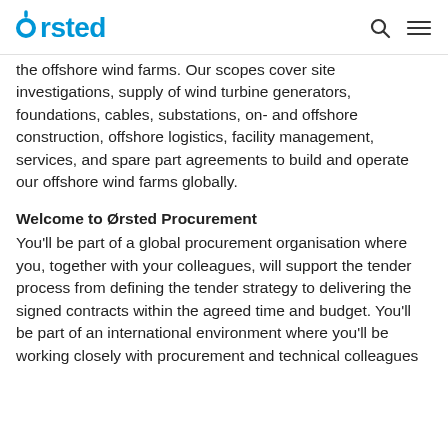Ørsted
the offshore wind farms. Our scopes cover site investigations, supply of wind turbine generators, foundations, cables, substations, on- and offshore construction, offshore logistics, facility management, services, and spare part agreements to build and operate our offshore wind farms globally.
Welcome to Ørsted Procurement
You'll be part of a global procurement organisation where you, together with your colleagues, will support the tender process from defining the tender strategy to delivering the signed contracts within the agreed time and budget. You'll be part of an international environment where you'll be working closely with procurement and technical colleagues